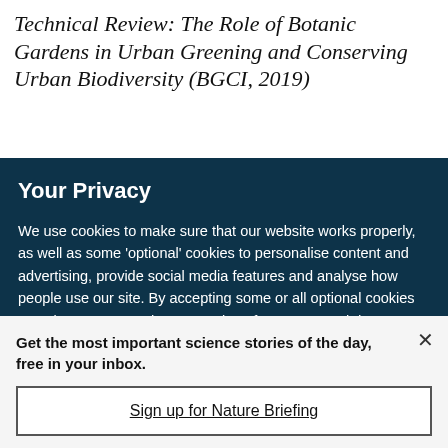Technical Review: The Role of Botanic Gardens in Urban Greening and Conserving Urban Biodiversity (BGCI, 2019)
Your Privacy
We use cookies to make sure that our website works properly, as well as some 'optional' cookies to personalise content and advertising, provide social media features and analyse how people use our site. By accepting some or all optional cookies you give consent to the processing of your personal data, including transfer to third parties, some in countries outside of the European Economic Area that do not offer the same data protection standards as the country where you live. You can decide which optional cookies to accept by clicking on 'Manage Settings', where you can
Get the most important science stories of the day, free in your inbox.
Sign up for Nature Briefing